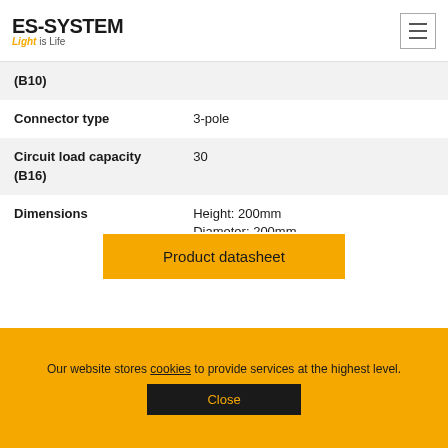ES-SYSTEM Light is Life
| Property | Value |
| --- | --- |
| (B10) |  |
| Connector type | 3-pole |
| Circuit load capacity (B16) | 30 |
| Dimensions | Height: 200mm
Diameter: 200mm |
| Power Supply | Delivered with the luminaire |
| Weight | 4.00kg |
| EAN | 5903531089979 |
Product datasheet
Our website stores cookies to provide services at the highest level.
Close